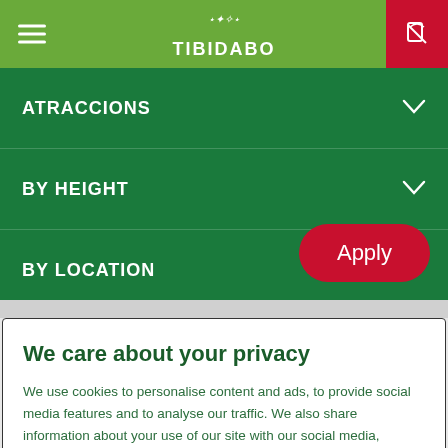[Figure (screenshot): Tibidabo amusement park website navigation bar with hamburger menu, Tibidabo logo, and ticket icon on red background]
ATRACCIONS
BY HEIGHT
BY LOCATION
Apply
We care about your privacy
We use cookies to personalise content and ads, to provide social media features and to analyse our traffic. We also share information about your use of our site with our social media, advertising and analytics partners. Cookie Policy
Cookies Settings
Accept All Cookies